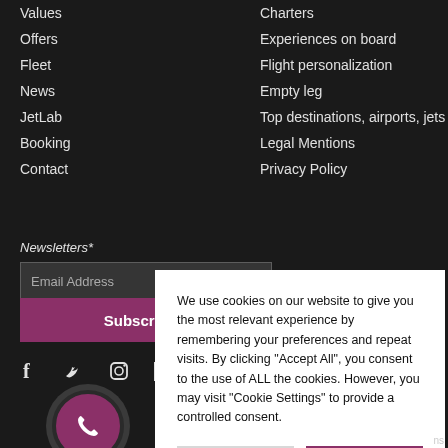Values
Offers
Fleet
News
JetLab
Booking
Contact
Charters
Experiences on board
Flight personalization
Empty leg
Top destinations, airports, jets
Legal Mentions
Privacy Policy
Newsletters*
Email Address
Subscribe
[Figure (infographic): Social media icons: Facebook, Twitter, Instagram, LinkedIn]
[Figure (infographic): Phone contact button - purple circle with phone icon]
We use cookies on our website to give you the most relevant experience by remembering your preferences and repeat visits. By clicking "Accept All", you consent to the use of ALL the cookies. However, you may visit "Cookie Settings" to provide a controlled consent.
Cookie Settings
Accept All